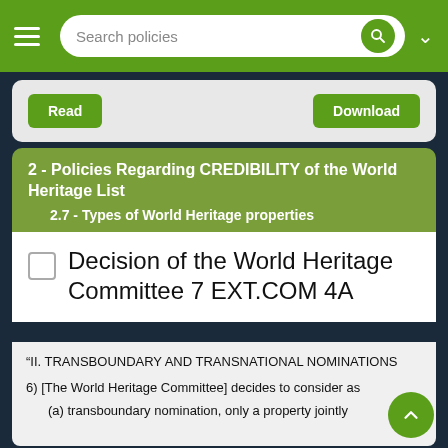Search policies
[Figure (screenshot): Navigation bar with hamburger menu, search box, and dropdown arrow on green background]
Read    Download
2 - Policies Regarding CREDIBILITY of the World Heritage List
    2.7 - Types of World Heritage properties
Decision of the World Heritage Committee 7 EXT.COM 4A
“II. TRANSBOUNDARY AND TRANSNATIONAL NOMINATIONS

6) [The World Heritage Committee] decides to consider as

    (a) transboundary nomination, only a property jointly